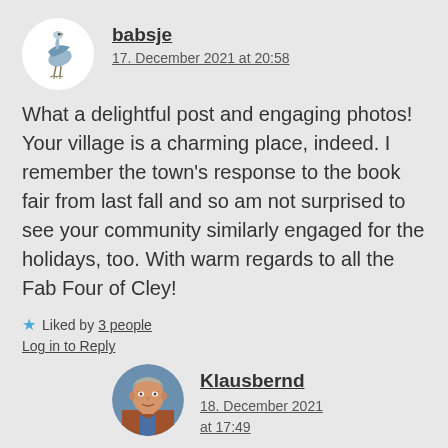[Figure (illustration): Circular avatar with white background showing a blue heron/bird illustration]
babsje
17. December 2021 at 20:58
What a delightful post and engaging photos! Your village is a charming place, indeed. I remember the town’s response to the book fair from last fall and so am not surprised to see your community similarly engaged for the holidays, too. With warm regards to all the Fab Four of Cley!
★ Liked by 3 people
Log in to Reply
[Figure (photo): Circular avatar showing a middle-aged man's face, smiling, outdoor setting]
Klausbernd
18. December 2021 at 17:49